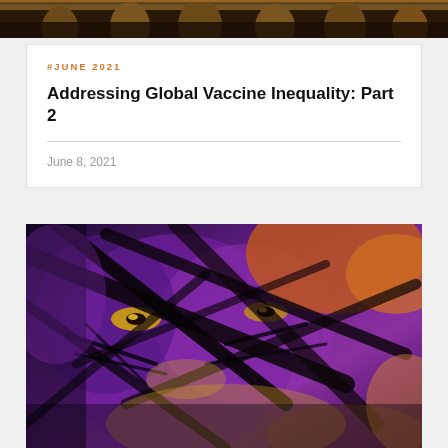[Figure (photo): A top banner photograph showing an architectural/historical scene with orange and earthy tones, possibly an ancient building or ruins.]
#JUNE 2021
Addressing Global Vaccine Inequality: Part 2
June 8, 2021
[Figure (illustration): A dark stylized digital artwork depicting a face with abstract black brushstrokes overlaid on purple, yellow, and orange hues, evoking emotional intensity.]